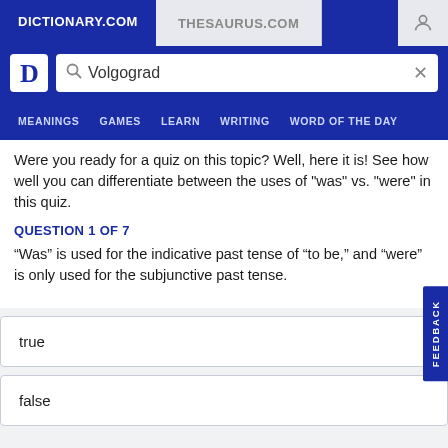DICTIONARY.COM | THESAURUS.COM
Were you ready for a quiz on this topic? Well, here it is! See how well you can differentiate between the uses of "was" vs. "were" in this quiz.
QUESTION 1 OF 7
“Was” is used for the indicative past tense of “to be,” and “were” is only used for the subjunctive past tense.
true
false